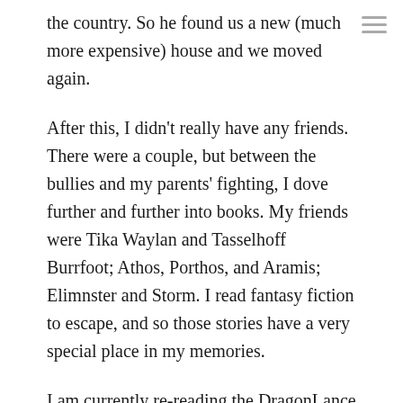the country. So he found us a new (much more expensive) house and we moved again.
After this, I didn't really have any friends. There were a couple, but between the bullies and my parents' fighting, I dove further and further into books. My friends were Tika Waylan and Tasselhoff Burrfoot; Athos, Porthos, and Aramis; Elimnster and Storm. I read fantasy fiction to escape, and so those stories have a very special place in my memories.
I am currently re-reading the DragonLance Saga, and confronted with the character of Raistlin, have spent a great deal of time in reflection. In him, I see the darkness within myself, particularly relating to my past and the man I have become